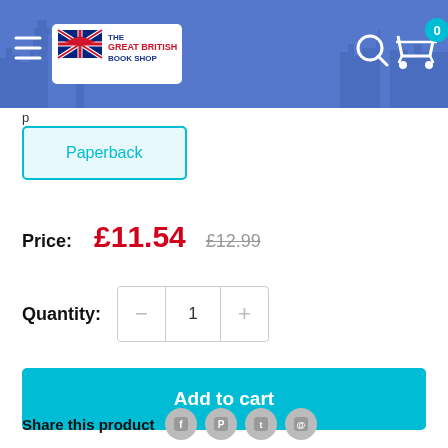[Figure (screenshot): The Great British Book Shop website header with navigation, logo, search icon, and cart showing 0 items]
Paperback
Price: £11.54 £12.99
Quantity: 1
Add to cart
Share this product